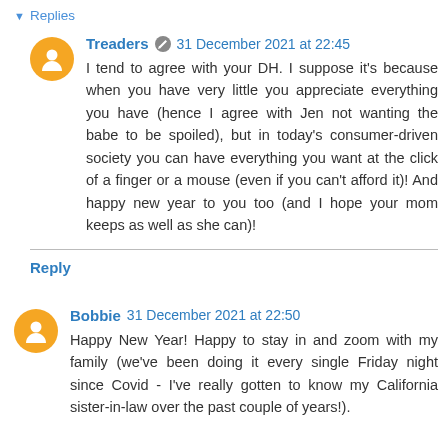▾ Replies
Treaders  31 December 2021 at 22:45
I tend to agree with your DH. I suppose it's because when you have very little you appreciate everything you have (hence I agree with Jen not wanting the babe to be spoiled), but in today's consumer-driven society you can have everything you want at the click of a finger or a mouse (even if you can't afford it)! And happy new year to you too (and I hope your mom keeps as well as she can)!
Reply
Bobbie  31 December 2021 at 22:50
Happy New Year! Happy to stay in and zoom with my family (we've been doing it every single Friday night since Covid - I've really gotten to know my California sister-in-law over the past couple of years!).